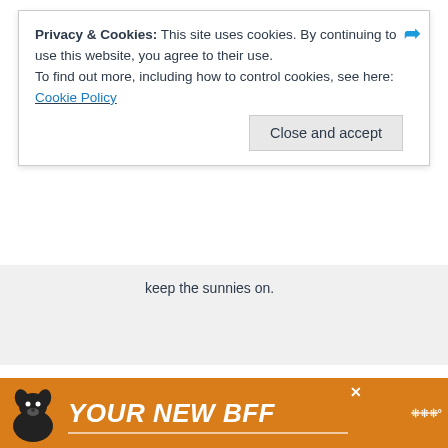Privacy & Cookies: This site uses cookies. By continuing to use this website, you agree to their use.
To find out more, including how to control cookies, see here: Cookie Policy
keep the sunnies on.
Comments are closed.
AFFILIATE LINKS
[Figure (photo): Food photo showing flatbread/naan and rice on a blue patterned plate]
[Figure (infographic): Advertisement banner: YOUR NEW BFF with a dog image on orange background]